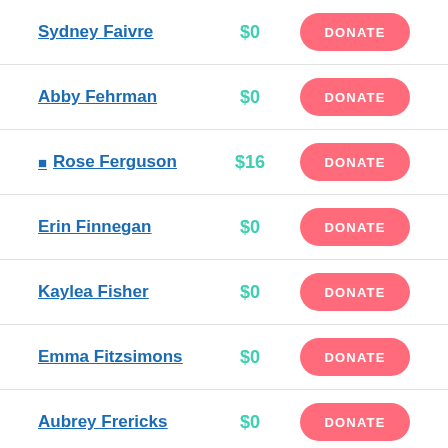Sydney Faivre $0 DONATE
Abby Fehrman $0 DONATE
Rose Ferguson $16 DONATE
Erin Finnegan $0 DONATE
Kaylea Fisher $0 DONATE
Emma Fitzsimons $0 DONATE
Aubrey Frericks $0 DONATE